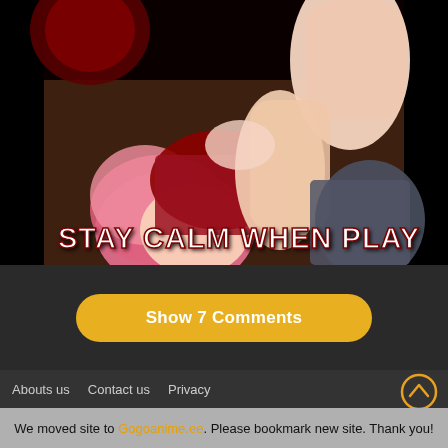[Figure (illustration): Anime-style illustration showing a pink-haired character in a red outfit on dark background with text overlay 'STAY CALM WHEN PLAY']
Show 7 Comments
[Figure (other): Up arrow circle icon in gold/orange color]
Abouts us   Contact us   Privacy
We moved site to Gogoanime.ee. Please bookmark new site. Thank you!